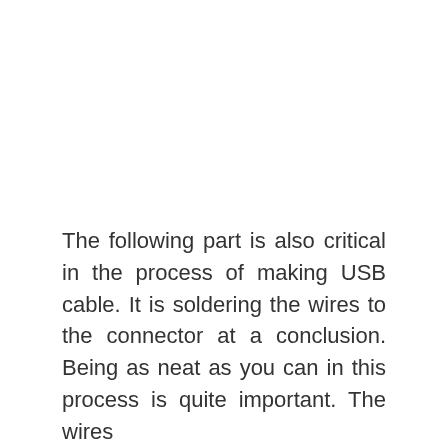The following part is also critical in the process of making USB cable. It is soldering the wires to the connector at a conclusion. Being as neat as you can in this process is quite important. The wires